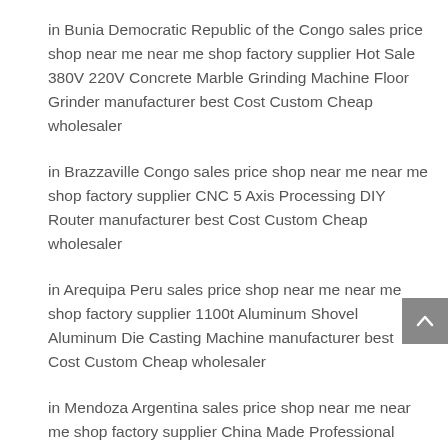in Bunia Democratic Republic of the Congo sales price shop near me near me shop factory supplier Hot Sale 380V 220V Concrete Marble Grinding Machine Floor Grinder manufacturer best Cost Custom Cheap wholesaler
in Brazzaville Congo sales price shop near me near me shop factory supplier CNC 5 Axis Processing DIY Router manufacturer best Cost Custom Cheap wholesaler
in Arequipa Peru sales price shop near me near me shop factory supplier 1100t Aluminum Shovel Aluminum Die Casting Machine manufacturer best Cost Custom Cheap wholesaler
in Mendoza Argentina sales price shop near me near me shop factory supplier China Made Professional Customized Different Shape Spur Gear and Shaft Gear manufacturer best Cost Custom Cheap wholesaler